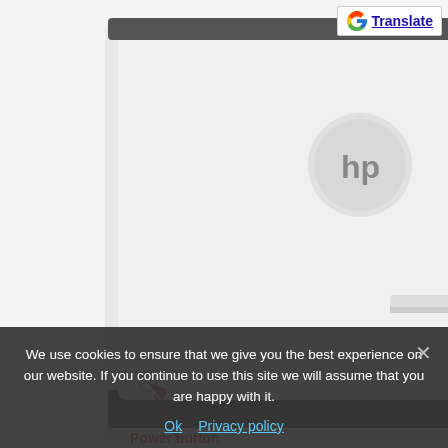[Figure (photo): HP printer photo with power button highlighted by a red arrow and label. Google Translate badge visible in top right corner.]
Power button
[Figure (illustration): Clock-like dial icon and line drawing of an HP multifunction printer/copier machine.]
We use cookies to ensure that we give you the best experience on our website. If you continue to use this site we will assume that you are happy with it.
Ok   Privacy policy